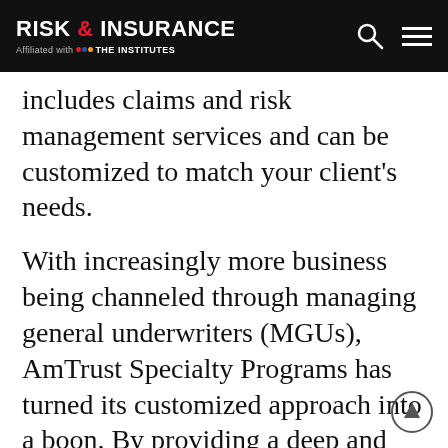RISK & INSURANCE — Affiliated with THE INSTITUTES
includes claims and risk management services and can be customized to match your client's needs.
With increasingly more business being channeled through managing general underwriters (MGUs), AmTrust Specialty Programs has turned its customized approach into a boon. By providing a deep and relevant product set, it can cater to the diverse needs of these fast-growing entities.
Additionally, as a result of an influx of underwriting talent from insurance carriers